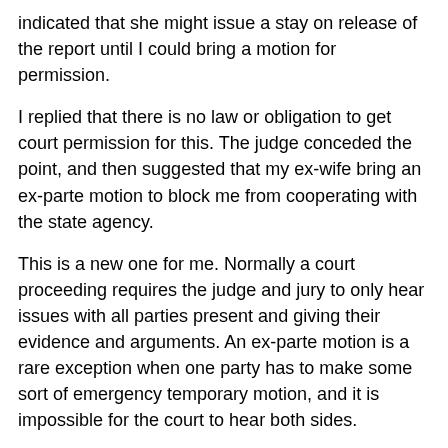indicated that she might issue a stay on release of the report until I could bring a motion for permission.
I replied that there is no law or obligation to get court permission for this. The judge conceded the point, and then suggested that my ex-wife bring an ex-parte motion to block me from cooperating with the state agency.
This is a new one for me. Normally a court proceeding requires the judge and jury to only hear issues with all parties present and giving their evidence and arguments. An ex-parte motion is a rare exception when one party has to make some sort of emergency temporary motion, and it is impossible for the court to hear both sides.
But here we were, both parties to the case, in court and willing to present our arguments. Instead of listening, the judge tells one party to bring an ex-parte motion! It was the legal equivalent of the judge saying, "George, I don't want to hear your side of the story. So please step outside of the courtroom while I rule against you."